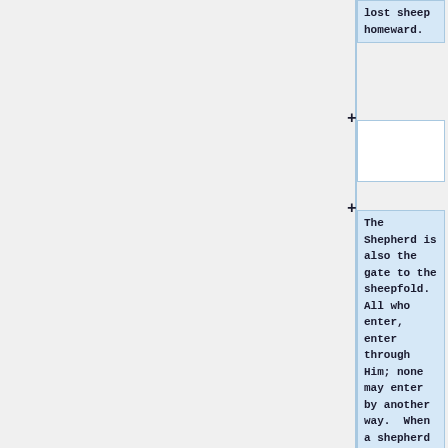lost sheep homeward.
The Shepherd is also the gate to the sheepfold. All who enter, enter through Him; none may enter by another way. When a shepherd opens the gate of the sheepfold